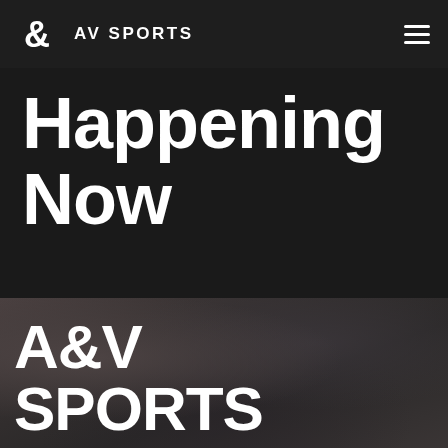AV SPORTS
Happening Now
[Figure (photo): Blurred crowd of sports spectators in a dark arena, with white text overlay reading A&V SPORTS]
A&V SPORTS